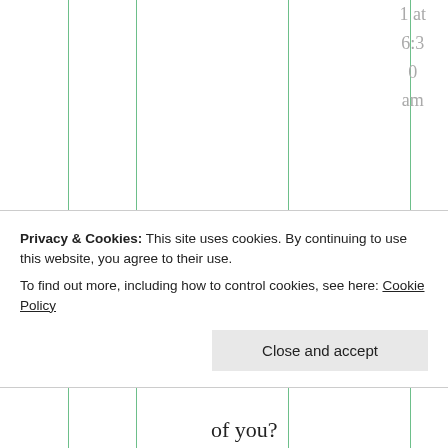1 at 6:30 am
LOL 🙂 You are right, TES does not yet fully understand how
Privacy & Cookies: This site uses cookies. By continuing to use this website, you agree to their use.
To find out more, including how to control cookies, see here: Cookie Policy
Close and accept
of you?